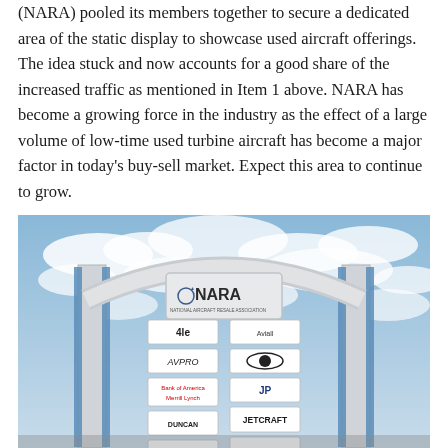(NARA) pooled its members together to secure a dedicated area of the static display to showcase used aircraft offerings. The idea stuck and now accounts for a good share of the increased traffic as mentioned in Item 1 above. NARA has become a growing force in the industry as the effect of a large volume of low-time used turbine aircraft has become a major factor in today's buy-sell market. Expect this area to continue to grow.
[Figure (photo): Photograph of a NARA (National Aircraft Resale Association) archway/entrance gate at an airshow, showing sponsor logos on both side pillars including 4le, AVPRO, Bank of America Merrill Lynch, Duncan Aviation, Jetcraft, jobflot, and others, with a cloudy blue sky background.]